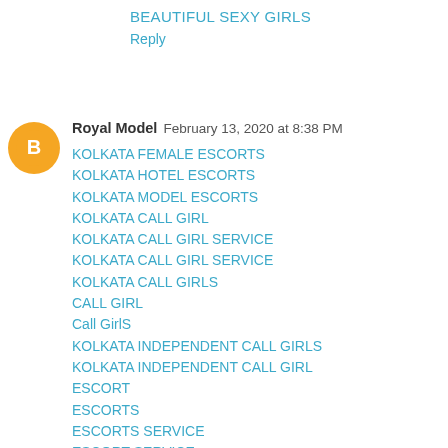BEAUTIFUL SEXY GIRLS
Reply
Royal Model  February 13, 2020 at 8:38 PM
KOLKATA FEMALE ESCORTS
KOLKATA HOTEL ESCORTS
KOLKATA MODEL ESCORTS
KOLKATA CALL GIRL
KOLKATA CALL GIRL SERVICE
KOLKATA CALL GIRL SERVICE
KOLKATA CALL GIRLS
CALL GIRL
Call GirlS
KOLKATA INDEPENDENT CALL GIRLS
KOLKATA INDEPENDENT CALL GIRL
ESCORT
ESCORTS
ESCORTS SERVICE
ESCORT SERVICE
INTERNATIONALSEX GUIDE KOLKATA